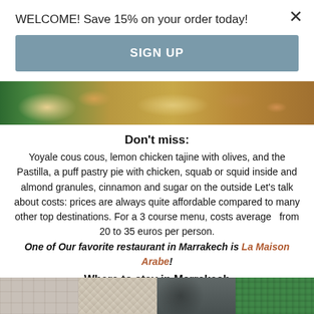WELCOME! Save 15% on your order today!
SIGN UP
[Figure (photo): Close-up photo of Moroccan food including couscous with vegetables]
Don't miss:
Yoyale cous cous, lemon chicken tajine with olives, and the Pastilla, a puff pastry pie with chicken, squab or squid inside and almond granules, cinnamon and sugar on the outside Let's talk about costs: prices are always quite affordable compared to many other top destinations. For a 3 course menu, costs average  from 20 to 35 euros per person. One of Our favorite restaurant in Marrakech is La Maison Arabe!
Where to stay in Marrakech
Here is one thing we are convinced of! You absolutely must stay in the Medina of Marrakech, inside a Riad.
[Figure (photo): Moroccan tile patterns and architectural details]